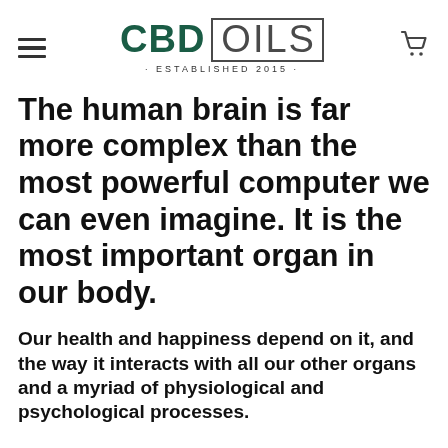CBD OILS · ESTABLISHED 2015 ·
The human brain is far more complex than the most powerful computer we can even imagine. It is the most important organ in our body.
Our health and happiness depend on it, and the way it interacts with all our other organs and a myriad of physiological and psychological processes.